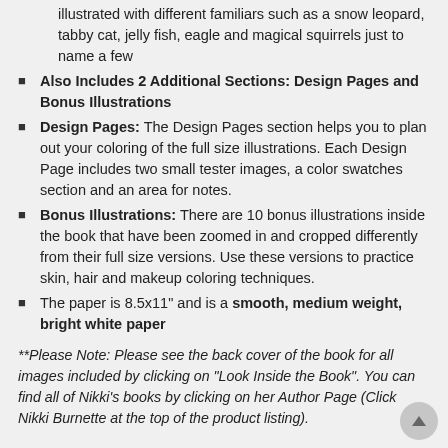illustrated with different familiars such as a snow leopard, tabby cat, jelly fish, eagle and magical squirrels just to name a few
Also Includes 2 Additional Sections: Design Pages and Bonus Illustrations
Design Pages: The Design Pages section helps you to plan out your coloring of the full size illustrations. Each Design Page includes two small tester images, a color swatches section and an area for notes.
Bonus Illustrations: There are 10 bonus illustrations inside the book that have been zoomed in and cropped differently from their full size versions. Use these versions to practice skin, hair and makeup coloring techniques.
The paper is 8.5x11" and is a smooth, medium weight, bright white paper
**Please Note: Please see the back cover of the book for all images included by clicking on "Look Inside the Book". You can find all of Nikki's books by clicking on her Author Page (Click Nikki Burnette at the top of the product listing).